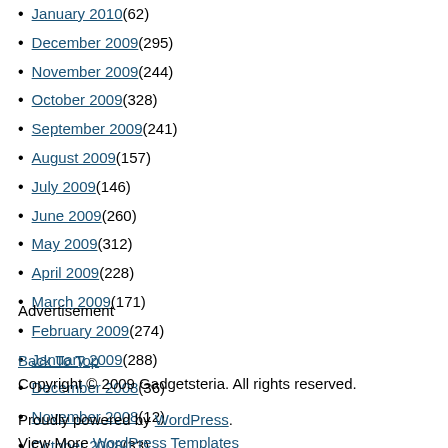January 2010 (62)
December 2009 (295)
November 2009 (244)
October 2009 (328)
September 2009 (241)
August 2009 (157)
July 2009 (146)
June 2009 (260)
May 2009 (312)
April 2009 (228)
March 2009 (171)
February 2009 (274)
January 2009 (288)
December 2008 (36)
November 2008 (12)
October 2008 (33)
September 2008 (24)
Advertisement
Back To Top
Copyright © 2009 Gadgetsteria. All rights reserved.
Proudly powered by WordPress. View More WordPress Templates.